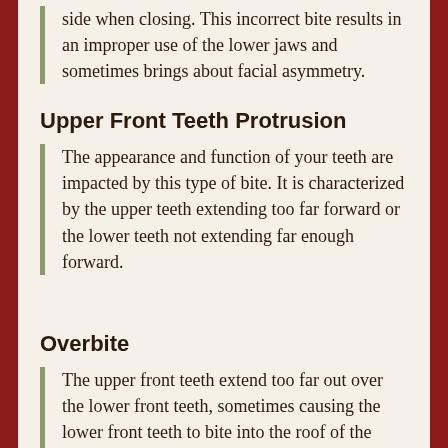side when closing. This incorrect bite results in an improper use of the lower jaws and sometimes brings about facial asymmetry.
Upper Front Teeth Protrusion
The appearance and function of your teeth are impacted by this type of bite. It is characterized by the upper teeth extending too far forward or the lower teeth not extending far enough forward.
Overbite
The upper front teeth extend too far out over the lower front teeth, sometimes causing the lower front teeth to bite into the roof of the mouth. Problems often associated with an overbite include a "gummy" smile, protruding